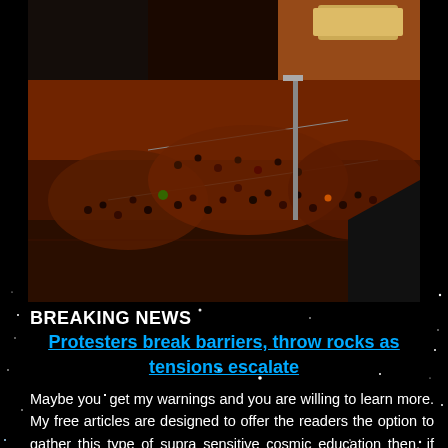[Figure (photo): Aerial night view of a large crowd of protesters on a street, illuminated by orange/red light, with barriers and vehicles visible]
BREAKING NEWS
Protesters break barriers, throw rocks as tensions escalate
Maybe you  get my warnings and you are willing to learn more. My free articles are designed to offer the readers the option to gather this type of supra sensitive cosmic education then, if you are smart of course,  join our private website to gain much more for a price anyone can afford.